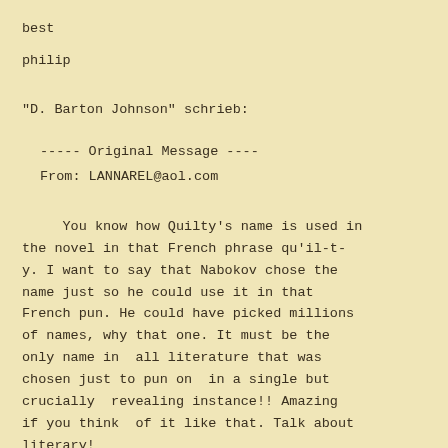best
philip
"D. Barton Johnson" schrieb:
----- Original Message ----
From: LANNAREL@aol.com
You know how Quilty's name is used in the novel in that French phrase qu'il-t-y. I want to say that Nabokov chose the name just so he could use it in that French pun. He could have picked millions of names, why that one. It must be the only name in  all literature that was chosen just to pun on  in a single but crucially  revealing instance!! Amazing if you think  of it like that. Talk about literary!